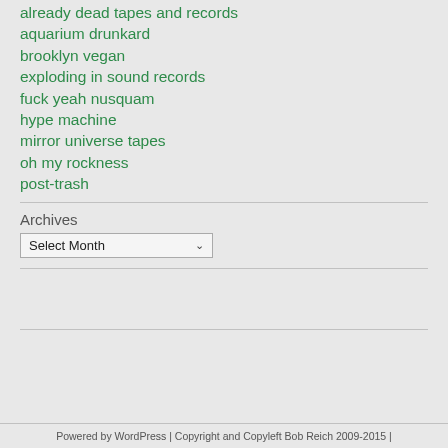already dead tapes and records
aquarium drunkard
brooklyn vegan
exploding in sound records
fuck yeah nusquam
hype machine
mirror universe tapes
oh my rockness
post-trash
Archives
Select Month
Powered by WordPress | Copyright and Copyleft Bob Reich 2009-2015 |